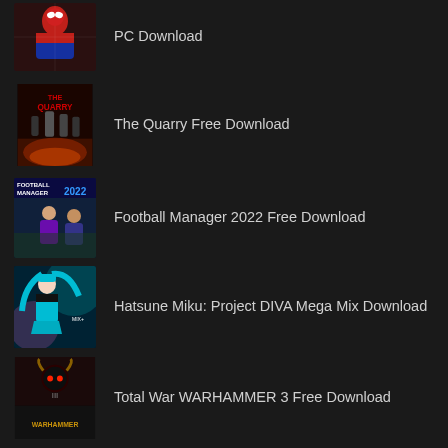PC Download
The Quarry Free Download
Football Manager 2022 Free Download
Hatsune Miku: Project DIVA Mega Mix Download
Total War WARHAMMER 3 Free Download
Entropy: Zero 2 Free Download